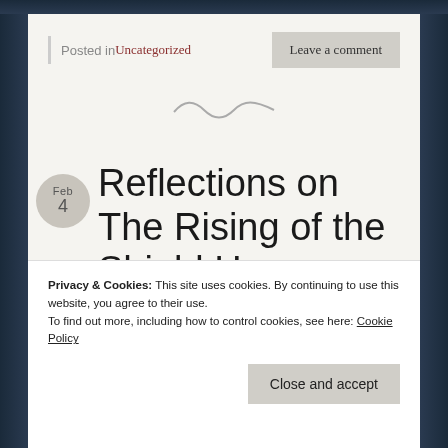Posted in Uncategorized
Leave a comment
Feb 4
Reflections on The Rising of the Shield Hero, Episode 4:
Privacy & Cookies: This site uses cookies. By continuing to use this website, you agree to their use.
To find out more, including how to control cookies, see here: Cookie Policy
Close and accept
new to the aniblogosphere, but this is a great start